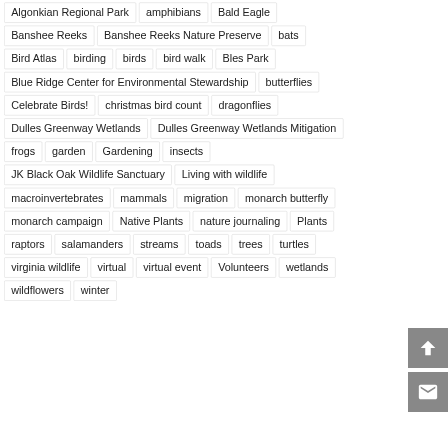Algonkian Regional Park
amphibians
Bald Eagle
Banshee Reeks
Banshee Reeks Nature Preserve
bats
Bird Atlas
birding
birds
bird walk
Bles Park
Blue Ridge Center for Environmental Stewardship
butterflies
Celebrate Birds!
christmas bird count
dragonflies
Dulles Greenway Wetlands
Dulles Greenway Wetlands Mitigation
frogs
garden
Gardening
insects
JK Black Oak Wildlife Sanctuary
Living with wildlife
macroinvertebrates
mammals
migration
monarch butterfly
monarch campaign
Native Plants
nature journaling
Plants
raptors
salamanders
streams
toads
trees
turtles
virginia wildlife
virtual
virtual event
Volunteers
wetlands
wildflowers
winter